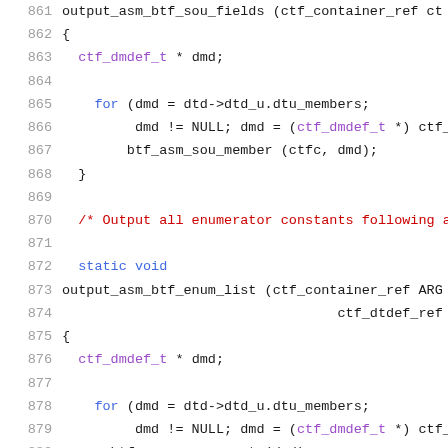[Figure (screenshot): Source code listing in C showing lines 861-882, featuring functions output_asm_btf_sou_fields and output_asm_btf_enum_list with for loops and function calls, displayed with line numbers and syntax highlighting.]